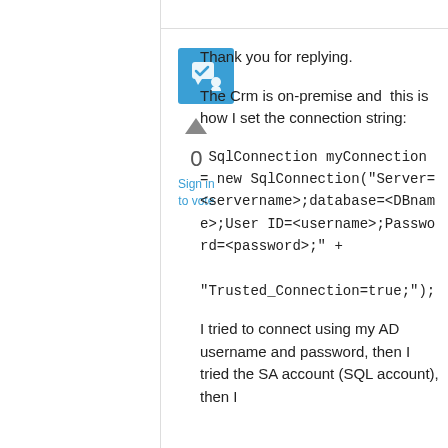[Figure (illustration): Blue square icon with a chat/feedback checkmark symbol in white]
0
Sign in to vote
Thank you for replying.
The Crm is on-premise and  this is how I set the connection string:
SqlConnection myConnection = new SqlConnection("Server=<servername>;database=<DBname>;User ID=<username>;Password=<password>;" +

"Trusted_Connection=true;");
I tried to connect using my AD username and password, then I tried the SA account (SQL account), then I